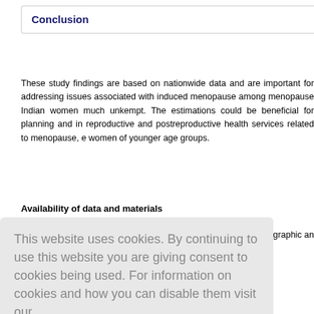Conclusion
These study findings are based on nationwide data and are important for addressing issues associated with induced menopause among menopause Indian women much unkempt. The estimations could be beneficial for planning and in reproductive and postreproductive health services related to menopause, e women of younger age groups.
Availability of data and materials
nographic an
This website uses cookies. By continuing to use this website you are giving consent to cookies being used. For information on cookies and how you can disable them visit our Privacy and Cookie Policy. AGREE & PROCEED